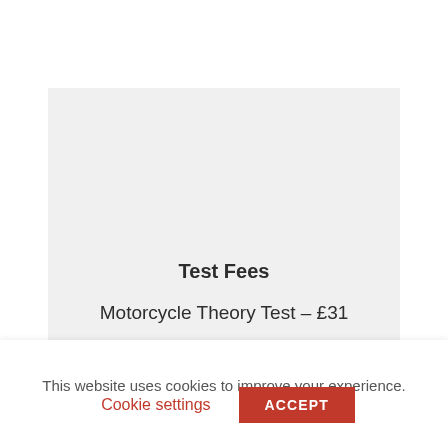Test Fees
Motorcycle Theory Test – £31
Practical Module 1 – £15.50
This website uses cookies to improve your experience.
Cookie settings
ACCEPT